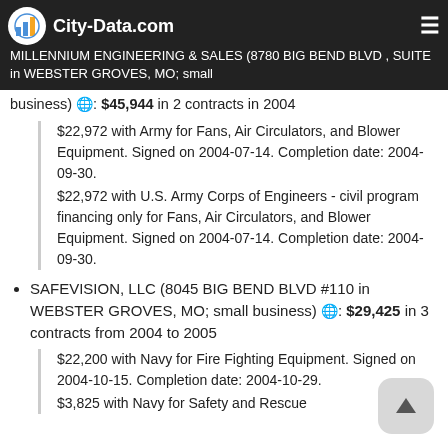City-Data.com
MILLENNIUM ENGINEERING & SALES (8780 BIG BEND BLVD , SUITE in WEBSTER GROVES, MO; small business) 🌐: $45,944 in 2 contracts in 2004
$22,972 with Army for Fans, Air Circulators, and Blower Equipment. Signed on 2004-07-14. Completion date: 2004-09-30.
$22,972 with U.S. Army Corps of Engineers - civil program financing only for Fans, Air Circulators, and Blower Equipment. Signed on 2004-07-14. Completion date: 2004-09-30.
SAFEVISION, LLC (8045 BIG BEND BLVD #110 in WEBSTER GROVES, MO; small business) 🌐: $29,425 in 3 contracts from 2004 to 2005
$22,200 with Navy for Fire Fighting Equipment. Signed on 2004-10-15. Completion date: 2004-10-29.
$3,825 with Navy for Safety and Rescue